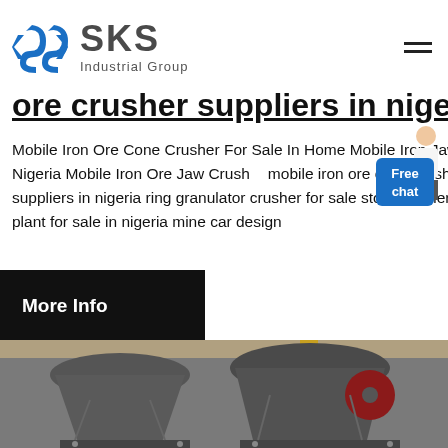[Figure (logo): SKS Industrial Group logo with blue angular S-shaped icon and gray SKS text with Industrial Group subtitle]
ore crusher suppliers in nigeria
Mobile Iron Ore Cone Crusher For Sale In Home Mobile Iron Jaw Crusher Suppliers In Nigeria Mobile Iron Ore Jaw Crusher mobile iron ore cone crusher mobile iron ore crusher suppliers in nigeria ring granulator crusher for sale stonecrusher jaw concrete batching plant for sale in nigeria mine car design
[Figure (illustration): Free chat widget with person/customer service representative image in top right corner]
[Figure (other): More Info black button banner]
[Figure (photo): Industrial cone crusher machinery in a factory/warehouse setting with yellow crane overhead]